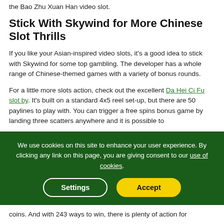the Bao Zhu Xuan Han video slot.
Stick With Skywind for More Chinese Slot Thrills
If you like your Asian-inspired video slots, it's a good idea to stick with Skywind for some top gambling. The developer has a whole range of Chinese-themed games with a variety of bonus rounds.
For a little more slots action, check out the excellent Da Hei Ci Fu slot by. It's built on a standard 4x5 reel set-up, but there are 50 paylines to play with. You can trigger a free spins bonus game by landing three scatters anywhere and it is possible to
We use cookies on this site to enhance your user experience. By clicking any link on this page, you are giving consent to our use of cookies.
coins. And with 243 ways to win, there is plenty of action for